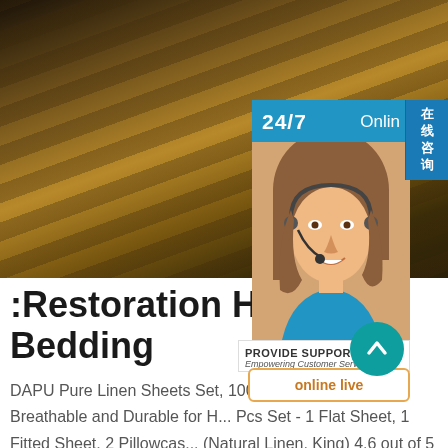[Figure (photo): Dark wood/furniture close-up photo with brown and dark tones]
[Figure (other): 24/7 Online support widget with customer service representative photo, 在线咨询 badge, PROVIDE SUPPORT Empowering Customer Service branding, and online live button]
:Restoration Hardware Bedding
DAPU Pure Linen Sheets Set, 100% Fre... Normandy, Breathable and Durable for H... Pcs Set - 1 Flat Sheet, 1 Fitted Sheet, 2 Pillowcase (Natural Linen, King) 4.6 out of 5 stars. 1,810. JELL... 100% Washed Cotton Duvet Cover sp.info Polyethylene Plastic Sheets McMaster-CarrPolyethylene Plastic Sheets McMaster-Carr Slippery UHMW Polyethylene...